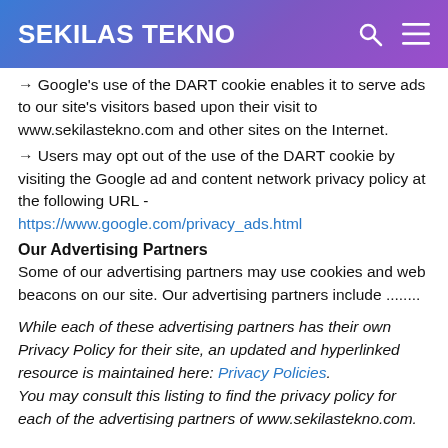SEKILAS TEKNO
→ Google's use of the DART cookie enables it to serve ads to our site's visitors based upon their visit to www.sekilastekno.com and other sites on the Internet.
→ Users may opt out of the use of the DART cookie by visiting the Google ad and content network privacy policy at the following URL - https://www.google.com/privacy_ads.html
Our Advertising Partners
Some of our advertising partners may use cookies and web beacons on our site. Our advertising partners include ........
While each of these advertising partners has their own Privacy Policy for their site, an updated and hyperlinked resource is maintained here: Privacy Policies. You may consult this listing to find the privacy policy for each of the advertising partners of www.sekilastekno.com.